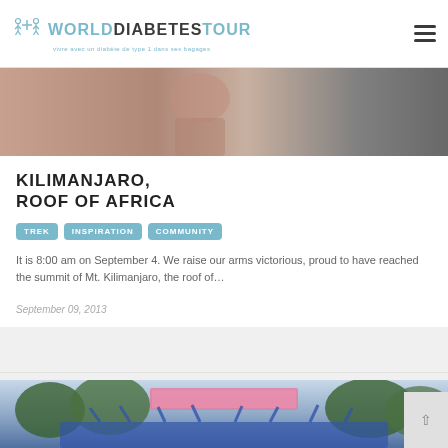WORLD DIABETES TOUR — vivre avec un diabète de type 1 dans ses bagages
[Figure (photo): Top banner photo showing a person with raised hands, partially visible in muted warm tones]
KILIMANJARO, ROOF OF AFRICA
TREK
INSPIRATION
COMMUNITY
It is 8:00 am on September 4. We raise our arms victorious, proud to have reached the summit of Mt. Kilimanjaro, the roof of…
September 09, 2013
[Figure (photo): Bottom photo showing a large group of people with raised arms celebrating outdoors, with trees and cloudy sky in background, pink banner visible]